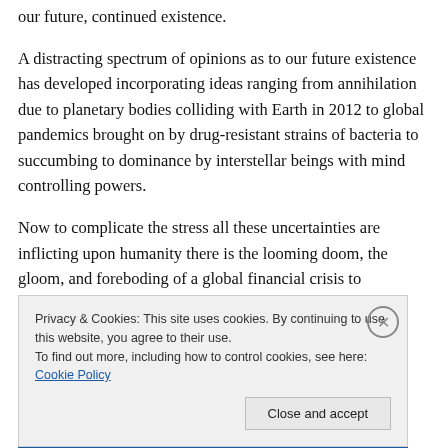our future, continued existence.
A distracting spectrum of opinions as to our future existence has developed incorporating ideas ranging from annihilation due to planetary bodies colliding with Earth in 2012 to global pandemics brought on by drug-resistant strains of bacteria to succumbing to dominance by interstellar beings with mind controlling powers.
Now to complicate the stress all these uncertainties are inflicting upon humanity there is the looming doom, the gloom, and foreboding of a global financial crisis to
Privacy & Cookies: This site uses cookies. By continuing to use this website, you agree to their use.
To find out more, including how to control cookies, see here: Cookie Policy